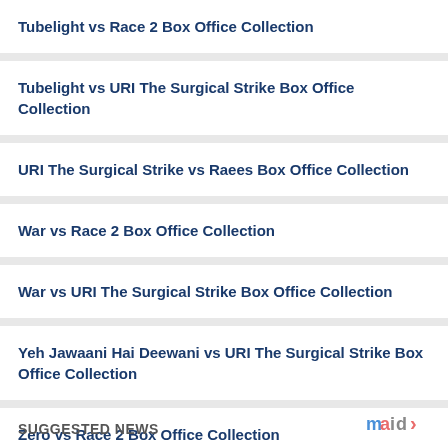Tubelight vs Race 2 Box Office Collection
Tubelight vs URI The Surgical Strike Box Office Collection
URI The Surgical Strike vs Raees Box Office Collection
War vs Race 2 Box Office Collection
War vs URI The Surgical Strike Box Office Collection
Yeh Jawaani Hai Deewani vs URI The Surgical Strike Box Office Collection
Zero vs Race 2 Box Office Collection
Zero vs URI The Surgical Strike Box Office Collection
SUGGESTED NEWS